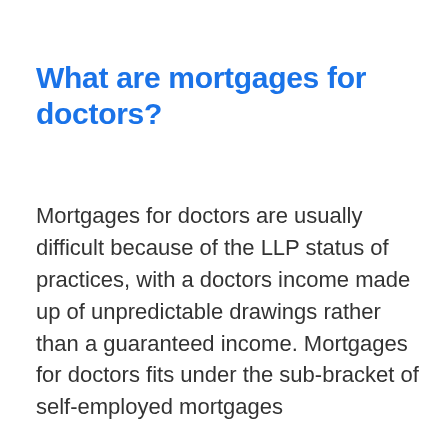What are mortgages for doctors?
Mortgages for doctors are usually difficult because of the LLP status of practices, with a doctors income made up of unpredictable drawings rather than a guaranteed income. Mortgages for doctors fits under the sub-bracket of self-employed mortgages